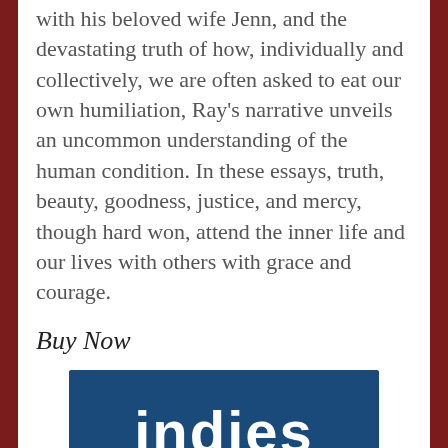with his beloved wife Jenn, and the devastating truth of how, individually and collectively, we are often asked to eat our own humiliation, Ray's narrative unveils an uncommon understanding of the human condition. In these essays, truth, beauty, goodness, justice, and mercy, though hard won, attend the inner life and our lives with others with grace and courage.
Buy Now
[Figure (logo): Indies First logo — dark blue rectangle with white distressed text reading 'indies' above teal/blue distressed block letters reading 'FIRST']